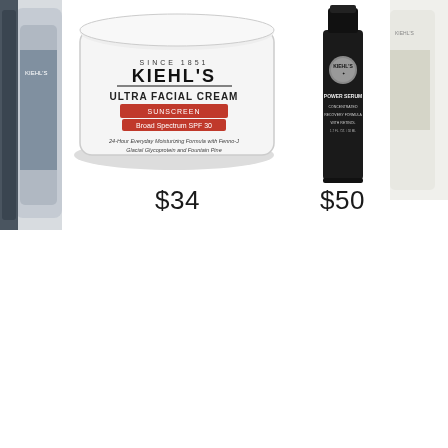[Figure (photo): Partial view of a blue/dark product container on the far left edge, partially cropped]
[Figure (photo): Kiehl's Ultra Facial Cream Sunscreen Broad Spectrum SPF 30 product in a white round tub container]
$34
[Figure (photo): Kiehl's Power Serum in a dark/black tall bottle]
$50
[Figure (photo): Partial view of a white/cream product on the far right edge, partially cropped]